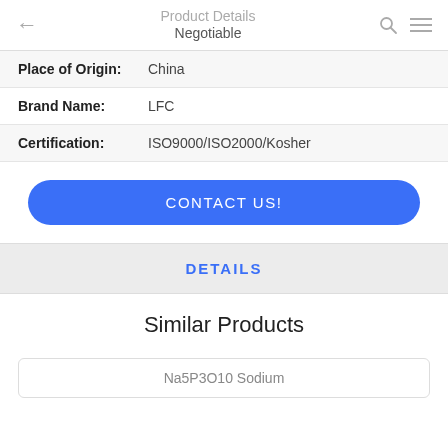Product Details / Negotiable
| Field | Value |
| --- | --- |
| Place of Origin: | China |
| Brand Name: | LFC |
| Certification: | ISO9000/ISO2000/Kosher |
CONTACT US!
DETAILS
Similar Products
Na5P3O10 Sodium